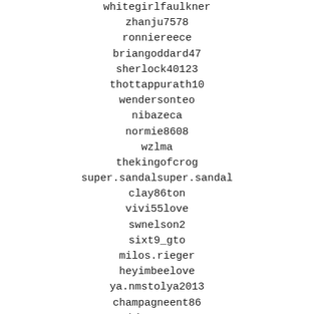whitegirlfaulkner
zhanju7578
ronniereece
briangoddard47
sherlock40123
thottappurath10
wendersonteo
nibazeca
normie8608
wzlma
thekingofcrog
super.sandalsuper.sandal
clay86ton
vivi55love
swnelson2
sixt9_gto
milos.rieger
heyimbeelove
ya.nmstolya2013
champagneent86
bia.peres
denis48denis
boden-rechnung
george64874
chrisromero69
mouriko
westbrook2316
zsh09
vsenqd
olatmedia